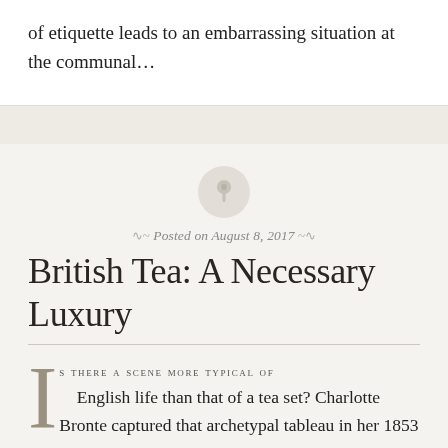of etiquette leads to an embarrassing situation at the communal...
[Figure (illustration): A decorative pin/pushpin icon inside a light gray circle, used as a blog post marker]
Posted on August 8, 2017
British Tea: A Necessary Luxury
IS THERE A SCENE MORE TYPICAL OF English life than that of a tea set? Charlotte Bronte captured that archetypal tableau in her 1853